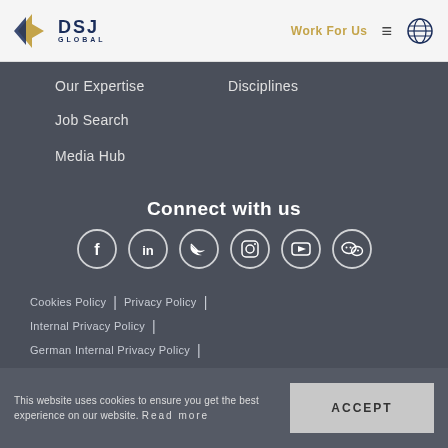[Figure (logo): DSJ Global logo with gold and navy chevron icon and text DSJ GLOBAL]
Work For Us
Our Expertise
Disciplines
Job Search
Media Hub
Connect with us
[Figure (infographic): Six social media icons in circles: Facebook, LinkedIn, Twitter, Instagram, YouTube, WeChat]
Cookies Policy | Privacy Policy | Internal Privacy Policy | German Internal Privacy Policy | Singapore Privacy Policy | Modern Slavery Policy
This website uses cookies to ensure you get the best experience on our website. Read more
ACCEPT